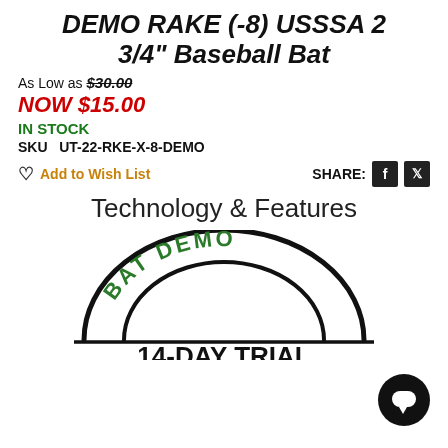DEMO RAKE (-8) USSSA 2 3/4" Baseball Bat
As Low as $30.00
NOW $15.00
IN STOCK
SKU  UT-22-RKE-X-8-DEMO
Add to Wish List
SHARE:
Technology & Features
[Figure (logo): BAT DEMO 14-DAY TRIAL badge: semicircle arch with 'BAT DEMO' text in green, inner arch, horizontal line, and bold '14-DAY TRIAL' text below]